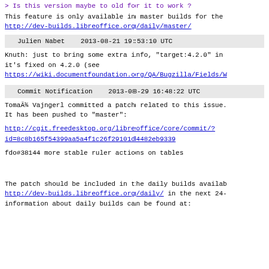> Is this version maybe to old for it to work ?
This feature is only available in master builds for the
http://dev-builds.libreoffice.org/daily/master/
Julien Nabet    2013-08-21 19:53:10 UTC
Knuth: just to bring some extra info, "target:4.2.0" in
it's fixed on 4.2.0 (see
https://wiki.documentfoundation.org/QA/Bugzilla/Fields/W
Commit Notification    2013-08-29 16:48:22 UTC
TomaÃ¾ Vajngerl committed a patch related to this issue.
It has been pushed to "master":
http://cgit.freedesktop.org/libreoffice/core/commit/?
id=8c8b165f54399aa5a4f1c26f29101d4482eb9339
fdo#38144 more stable ruler actions on tables
The patch should be included in the daily builds availab
http://dev-builds.libreoffice.org/daily/ in the next 24-
information about daily builds can be found at: